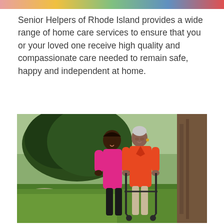[Figure (photo): Top banner strip with colorful gradient/photo collage]
Senior Helpers of Rhode Island provides a wide range of home care services to ensure that you or your loved one receive high quality and compassionate care needed to remain safe, happy and independent at home.
[Figure (photo): A caregiver in a pink shirt walking alongside an elderly woman in an orange jacket who is using a walker, outdoors in a park setting with green trees and grass in the background.]